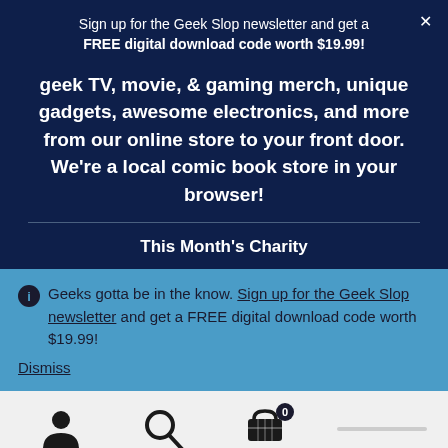Sign up for the Geek Slop newsletter and get a FREE digital download code worth $19.99!
geek TV, movie, & gaming merch, unique gadgets, awesome electronics, and more from our online store to your front door. We're a local comic book store in your browser!
This Month's Charity
Geeks gotta be in the know. Sign up for the Geek Slop newsletter and get a FREE digital download code worth $19.99!
Dismiss
[Figure (infographic): Bottom navigation bar with person icon, search/magnifying glass icon, and shopping cart icon with badge showing 0]